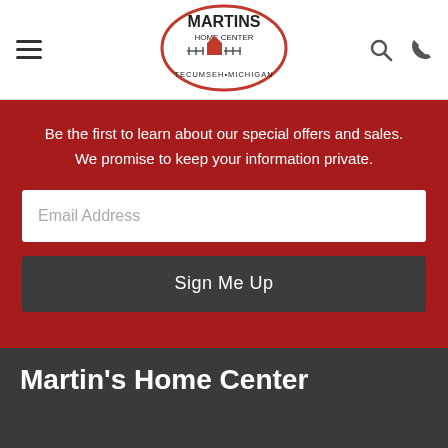[Figure (logo): Martins Home Center oval logo with TECUMSEH MICHIGAN text]
Be the first to learn about our special offers and sales. We promise to keep your information private.
Email Address
Sign Me Up
Martin's Home Center